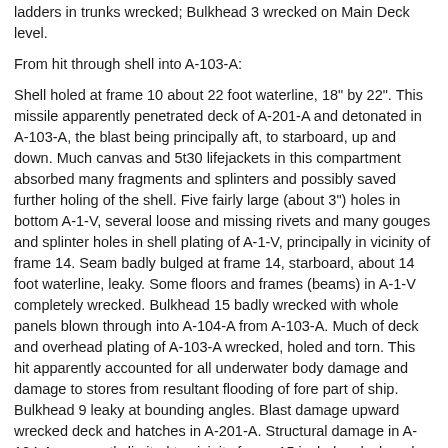ladders in trunks wrecked; Bulkhead 3 wrecked on Main Deck level.
From hit through shell into A-103-A:
Shell holed at frame 10 about 22 foot waterline, 18" by 22". This missile apparently penetrated deck of A-201-A and detonated in A-103-A, the blast being principally aft, to starboard, up and down. Much canvas and 5t30 lifejackets in this compartment absorbed many fragments and splinters and possibly saved further holing of the shell. Five fairly large (about 3") holes in bottom A-1-V, several loose and missing rivets and many gouges and splinter holes in shell plating of A-1-V, principally in vicinity of frame 14. Seam badly bulged at frame 14, starboard, about 14 foot waterline, leaky. Some floors and frames (beams) in A-1-V completely wrecked. Bulkhead 15 badly wrecked with whole panels blown through into A-104-A from A-103-A. Much of deck and overhead plating of A-103-A wrecked, holed and torn. This hit apparently accounted for all underwater body damage and damage to stores from resultant flooding of fore part of ship. Bulkhead 9 leaky at bounding angles. Blast damage upward wrecked deck and hatches in A-201-A. Structural damage in A-104-A apparently limited to vicinity frame 15 includes deck and longitudinal bulkheads. W.T. Hatch from A-204-T to A-104-AA and W.T. Door to A-205-E buckled from blast.